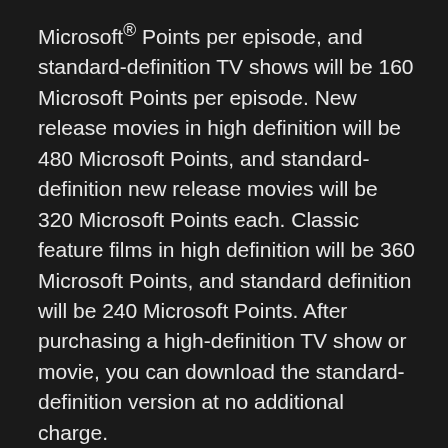Microsoft® Points per episode, and standard-definition TV shows will be 160 Microsoft Points per episode. New release movies in high definition will be 480 Microsoft Points, and standard-definition new release movies will be 320 Microsoft Points each. Classic feature films in high definition will be 360 Microsoft Points, and standard definition will be 240 Microsoft Points. After purchasing a high-definition TV show or movie, you can download the standard-definition version at no additional charge.
More about the shows and movies after the jump. Buyer beware on the high def downloads: